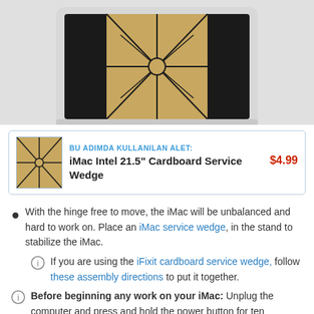[Figure (photo): iMac Intel 21.5 inch with a cardboard service wedge placed in the stand, shown from a slight angle on a light gray background]
BU ADIMDA KULLANILAN ALET: iMac Intel 21.5" Cardboard Service Wedge $4.99
With the hinge free to move, the iMac will be unbalanced and hard to work on. Place an iMac service wedge, in the stand to stabilize the iMac.
If you are using the iFixit cardboard service wedge, follow these assembly directions to put it together.
Before beginning any work on your iMac: Unplug the computer and press and hold the power button for ten seconds to discharge the power supply's capacitors.